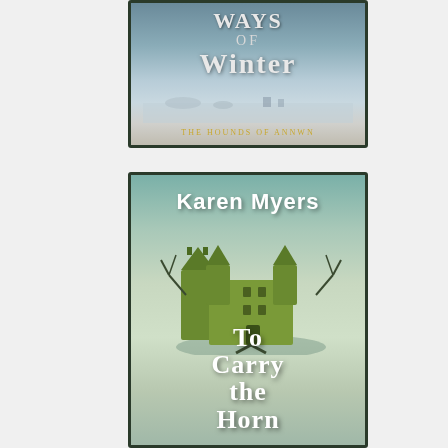[Figure (illustration): Book cover for 'Ways of Winter: The Hounds of Annwn' — winter landscape with icy terrain, text in white serif lettering, subtitle in gold lettering]
[Figure (illustration): Book cover for 'To Carry the Horn' by Karen Myers — green fantastical castle illustration with bare trees, white bold author name at top, white serif title at bottom, teal-green background]